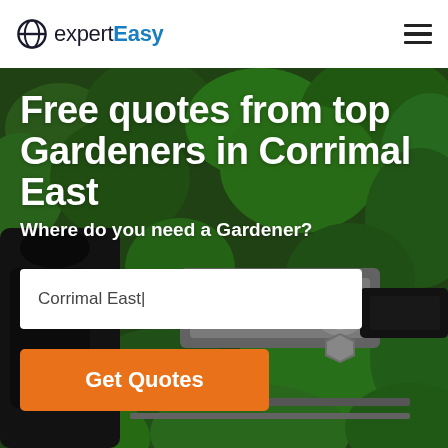expertEasy
Free quotes from top Gardeners in Corrimal East
Where do you need a Gardener?
[Figure (screenshot): Background photo of garden hedge trimming tools with green foliage]
Corrimal East
Get Quotes